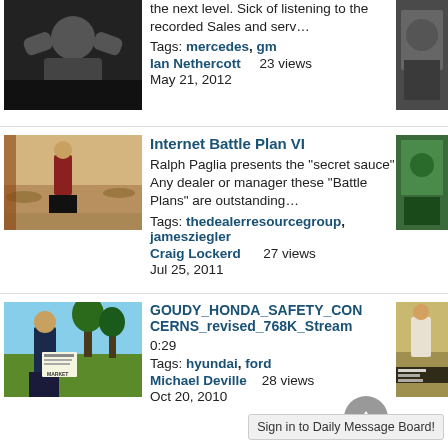[Figure (screenshot): Video listing page showing multiple video entries with thumbnails, titles, tags, authors, view counts and dates. Partial view of top entry cropped. Entries include: Ian Nethercott video about mercedes/gm (23 views, May 21 2012); Internet Battle Plan VI by Craig Lockerd (27 views, Jul 25 2011); GOUDY_HONDA_SAFETY_CONCERNS_revised_768K_Stream by Michael Deville (28 views, Oct 20 2010); Toyota Camry vs. Nissan Altima Naples Fort Myers partial entry. Sign in to Daily Message Board banner at bottom.]